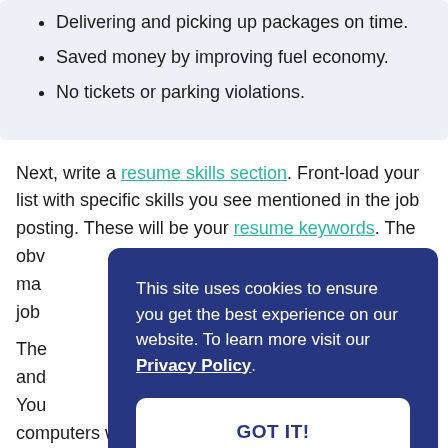Delivering and picking up packages on time.
Saved money by improving fuel economy.
No tickets or parking violations.
Next, write a resume skills section. Front-load your list with specific skills you see mentioned in the job posting. These will be your resume keywords. The obv... ma... job...
This site uses cookies to ensure you get the best experience on our website. To learn more visit our Privacy Policy.
GOT IT!
computers will easily recognize as highly relevant to